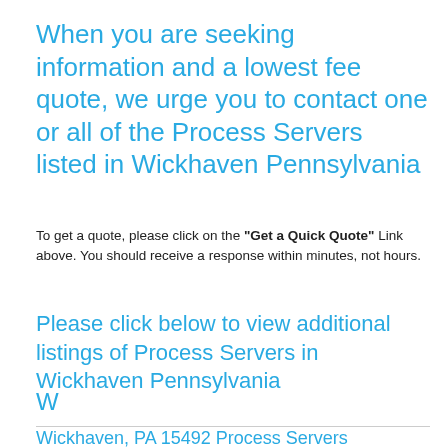When you are seeking information and a lowest fee quote, we urge you to contact one or all of the Process Servers listed in Wickhaven Pennsylvania
To get a quote, please click on the "Get a Quick Quote" Link above. You should receive a response within minutes, not hours.
Please click below to view additional listings of Process Servers in Wickhaven Pennsylvania
W
Wickhaven, PA 15492 Process Servers